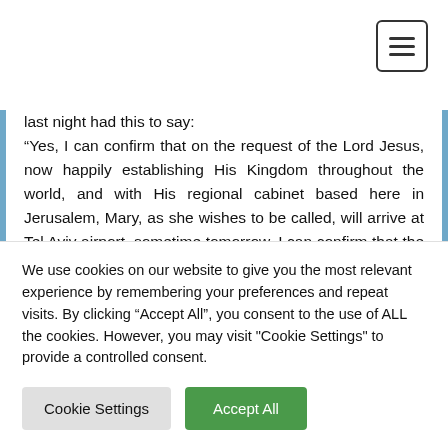[Figure (screenshot): Hamburger menu button icon in top right corner]
last night had this to say:
“Yes, I can confirm that on the request of the Lord Jesus, now happily establishing His Kingdom throughout the world, and with His regional cabinet based here in Jerusalem, Mary, as she wishes to be called, will arrive at Tel Aviv airport, sometime tomorrow. I can confirm that the American Secretary
We use cookies on our website to give you the most relevant experience by remembering your preferences and repeat visits. By clicking “Accept All”, you consent to the use of ALL the cookies. However, you may visit "Cookie Settings" to provide a controlled consent.
Cookie Settings
Accept All